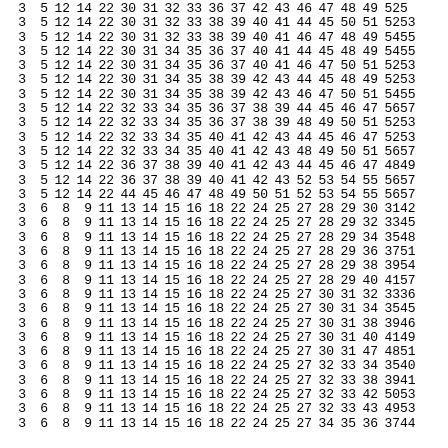| 3 | 5 | 12 | 14 | 22 | 30 | 31 | 32 | 33 | 36 | 37 | 42 | 43 | 46 | 47 | 48 | 49 | 52 | 5 |
| 3 | 5 | 12 | 14 | 22 | 30 | 31 | 32 | 33 | 38 | 39 | 40 | 41 | 44 | 45 | 50 | 51 | 52 | 53 |
| 3 | 5 | 12 | 14 | 22 | 30 | 31 | 32 | 33 | 38 | 39 | 40 | 41 | 46 | 47 | 48 | 49 | 54 | 55 |
| 3 | 5 | 12 | 14 | 22 | 30 | 31 | 34 | 35 | 36 | 37 | 40 | 41 | 44 | 45 | 48 | 49 | 54 | 55 |
| 3 | 5 | 12 | 14 | 22 | 30 | 31 | 34 | 35 | 36 | 37 | 40 | 41 | 46 | 47 | 50 | 51 | 52 | 53 |
| 3 | 5 | 12 | 14 | 22 | 30 | 31 | 34 | 35 | 38 | 39 | 42 | 43 | 44 | 45 | 48 | 49 | 52 | 53 |
| 3 | 5 | 12 | 14 | 22 | 30 | 31 | 34 | 35 | 38 | 39 | 42 | 43 | 46 | 47 | 50 | 51 | 54 | 55 |
| 3 | 5 | 12 | 14 | 22 | 32 | 33 | 34 | 35 | 36 | 37 | 38 | 39 | 44 | 45 | 46 | 47 | 56 | 57 |
| 3 | 5 | 12 | 14 | 22 | 32 | 33 | 34 | 35 | 36 | 37 | 38 | 39 | 48 | 49 | 50 | 51 | 52 | 53 |
| 3 | 5 | 12 | 14 | 22 | 32 | 33 | 34 | 35 | 40 | 41 | 42 | 43 | 44 | 45 | 46 | 47 | 52 | 53 |
| 3 | 5 | 12 | 14 | 22 | 32 | 33 | 34 | 35 | 40 | 41 | 42 | 43 | 48 | 49 | 50 | 51 | 56 | 57 |
| 3 | 5 | 12 | 14 | 22 | 36 | 37 | 38 | 39 | 40 | 41 | 42 | 43 | 44 | 45 | 46 | 47 | 48 | 49 |
| 3 | 5 | 12 | 14 | 22 | 36 | 37 | 38 | 39 | 40 | 41 | 42 | 43 | 52 | 53 | 54 | 55 | 56 | 57 |
| 3 | 5 | 12 | 14 | 22 | 44 | 45 | 46 | 47 | 48 | 49 | 50 | 51 | 52 | 53 | 54 | 55 | 56 | 57 |
| 3 | 6 | 8 | 9 | 11 | 13 | 14 | 15 | 16 | 18 | 22 | 24 | 25 | 27 | 28 | 29 | 30 | 31 | 42 |
| 3 | 6 | 8 | 9 | 11 | 13 | 14 | 15 | 16 | 18 | 22 | 24 | 25 | 27 | 28 | 29 | 32 | 33 | 45 |
| 3 | 6 | 8 | 9 | 11 | 13 | 14 | 15 | 16 | 18 | 22 | 24 | 25 | 27 | 28 | 29 | 34 | 35 | 48 |
| 3 | 6 | 8 | 9 | 11 | 13 | 14 | 15 | 16 | 18 | 22 | 24 | 25 | 27 | 28 | 29 | 36 | 37 | 51 |
| 3 | 6 | 8 | 9 | 11 | 13 | 14 | 15 | 16 | 18 | 22 | 24 | 25 | 27 | 28 | 29 | 38 | 39 | 54 |
| 3 | 6 | 8 | 9 | 11 | 13 | 14 | 15 | 16 | 18 | 22 | 24 | 25 | 27 | 28 | 29 | 40 | 41 | 57 |
| 3 | 6 | 8 | 9 | 11 | 13 | 14 | 15 | 16 | 18 | 22 | 24 | 25 | 27 | 30 | 31 | 32 | 33 | 36 |
| 3 | 6 | 8 | 9 | 11 | 13 | 14 | 15 | 16 | 18 | 22 | 24 | 25 | 27 | 30 | 31 | 34 | 35 | 45 |
| 3 | 6 | 8 | 9 | 11 | 13 | 14 | 15 | 16 | 18 | 22 | 24 | 25 | 27 | 30 | 31 | 38 | 39 | 46 |
| 3 | 6 | 8 | 9 | 11 | 13 | 14 | 15 | 16 | 18 | 22 | 24 | 25 | 27 | 30 | 31 | 40 | 41 | 49 |
| 3 | 6 | 8 | 9 | 11 | 13 | 14 | 15 | 16 | 18 | 22 | 24 | 25 | 27 | 30 | 31 | 47 | 48 | 51 |
| 3 | 6 | 8 | 9 | 11 | 13 | 14 | 15 | 16 | 18 | 22 | 24 | 25 | 27 | 32 | 33 | 34 | 35 | 40 |
| 3 | 6 | 8 | 9 | 11 | 13 | 14 | 15 | 16 | 18 | 22 | 24 | 25 | 27 | 32 | 33 | 38 | 39 | 41 |
| 3 | 6 | 8 | 9 | 11 | 13 | 14 | 15 | 16 | 18 | 22 | 24 | 25 | 27 | 32 | 33 | 42 | 50 | 53 |
| 3 | 6 | 8 | 9 | 11 | 13 | 14 | 15 | 16 | 18 | 22 | 24 | 25 | 27 | 32 | 33 | 43 | 49 | 53 |
| 3 | 6 | 8 | 9 | 11 | 13 | 14 | 15 | 16 | 18 | 22 | 24 | 25 | 27 | 34 | 35 | 36 | 37 | 44 |